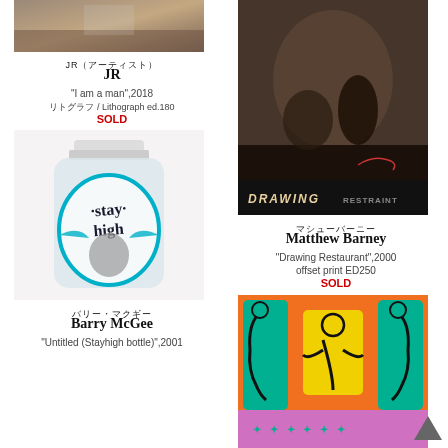[Figure (photo): Photograph of an indoor scene, appears to be an exhibition or gallery space with figures]
JR（アーティスト）
JR
"I am a man",2018
リトグラフ / Lithograph ed.180
SOLD
[Figure (photo): Photo of a white frosted glass bottle with 'stay high' gothic lettering and teal/blue wings design with face illustration]
バリー・マクギー
Barry McGee
"Untitled (Stayhigh bottle)",2001
[Figure (photo): Dark photograph showing figures on the ground with 'DRAWING RESTRAINT' text at bottom]
マシューバーニー
Matthew Barney
"Drawing Restaurant",2000
offset print ED250
SOLD
[Figure (illustration): Colorful Keith Haring-style artwork showing figures in teal, yellow and orange with purple text at bottom]